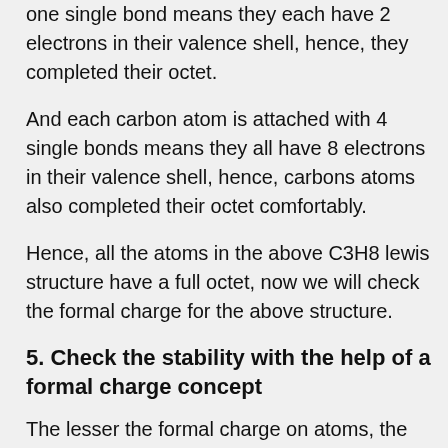one single bond means they each have 2 electrons in their valence shell, hence, they completed their octet.
And each carbon atom is attached with 4 single bonds means they all have 8 electrons in their valence shell, hence, carbons atoms also completed their octet comfortably.
Hence, all the atoms in the above C3H8 lewis structure have a full octet, now we will check the formal charge for the above structure.
5. Check the stability with the help of a formal charge concept
The lesser the formal charge on atoms, the better is the stability of the lewis diagram.
To calculate the formal charge on an atom. Use the formula